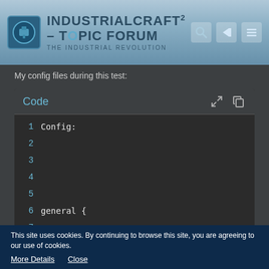IndustrialCraft² - Topic Forum - The Industrial Revolution
My config files during this test:
[Figure (screenshot): Code block showing a config file with lines numbered 1-8. Line 1 shows 'Config:', lines 2-5 are empty, line 6 shows 'general {', lines 7-8 are empty. Has 'Code' title header with expand and copy icons, and a 'Display More' button at the bottom.]
This site uses cookies. By continuing to browse this site, you are agreeing to our use of cookies.
More Details    Close